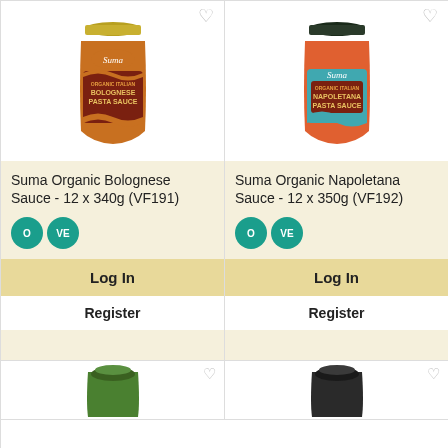[Figure (photo): Suma Organic Bolognese Pasta Sauce jar (orange label with gold lid)]
Suma Organic Bolognese Sauce - 12 x 340g (VF191)
O VE
Log In
Register
[Figure (photo): Suma Organic Napoletana Pasta Sauce jar (teal label with dark lid)]
Suma Organic Napoletana Sauce - 12 x 350g (VF192)
O VE
Log In
Register
[Figure (photo): Partial view of green product jar at bottom left]
[Figure (photo): Partial view of dark product jar at bottom right]